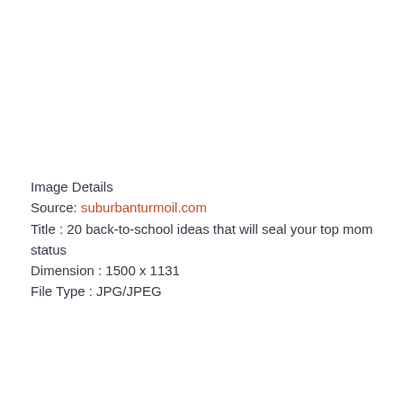Image Details
Source: suburbanturmoil.com
Title : 20 back-to-school ideas that will seal your top mom status
Dimension : 1500 x 1131
File Type : JPG/JPEG